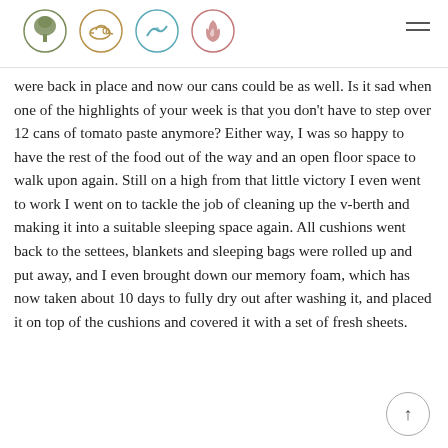[Navigation header with four circular icons: tree, animal, wave/bird, flame, and hamburger menu]
were back in place and now our cans could be as well. Is it sad when one of the highlights of your week is that you don't have to step over 12 cans of tomato paste anymore? Either way, I was so happy to have the rest of the food out of the way and an open floor space to walk upon again. Still on a high from that little victory I even went to work I went on to tackle the job of cleaning up the v-berth and making it into a suitable sleeping space again. All cushions went back to the settees, blankets and sleeping bags were rolled up and put away, and I even brought down our memory foam, which has now taken about 10 days to fully dry out after washing it, and placed it on top of the cushions and covered it with a set of fresh sheets.